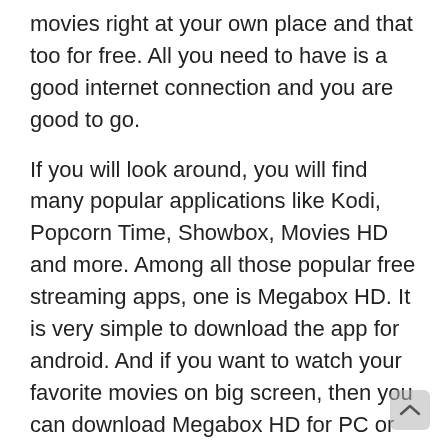movies right at your own place and that too for free. All you need to have is a good internet connection and you are good to go.
If you will look around, you will find many popular applications like Kodi, Popcorn Time, Showbox, Movies HD and more. Among all those popular free streaming apps, one is Megabox HD. It is very simple to download the app for android. And if you want to watch your favorite movies on big screen, then you can download Megabox HD for PC or laptops very easily using the steps we have shared in this article. Also, this is considered as one of the best platforms to watch TV shows, movies, documentaries or videos etc. in various languages.